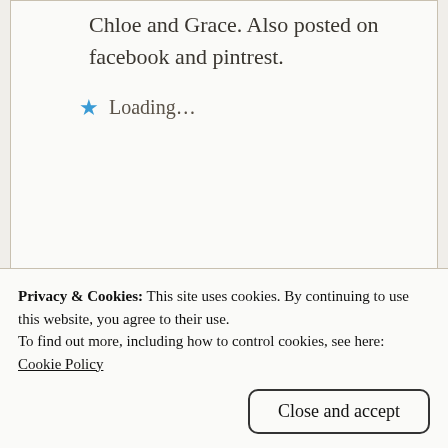Chloe and Grace. Also posted on facebook and pintrest.
Loading...
Reply
Diana
July 18, 2016 at 10:12 am
[Figure (illustration): Magenta decorative quilt/diamond pattern avatar icon for user Diana]
Love your creative posts and your beautiful photography! My favorite tea
Privacy & Cookies: This site uses cookies. By continuing to use this website, you agree to their use.
To find out more, including how to control cookies, see here:
Cookie Policy
Close and accept